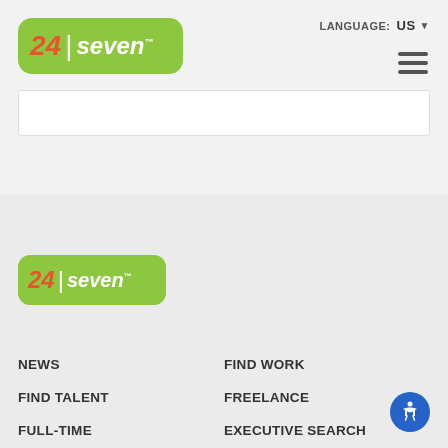[Figure (logo): 24 seven logo — green rounded rectangle with orange 24 and white seven text]
LANGUAGE: US ▼
[Figure (other): Hamburger menu icon — three horizontal dark lines]
[Figure (other): White search/input bar]
[Figure (logo): 24 seven logo (footer) — green rounded rectangle with orange 24 and white seven text]
NEWS
FIND WORK
FIND TALENT
FREELANCE
FULL-TIME
EXECUTIVE SEARCH
BROWSE JOBS
BLOG